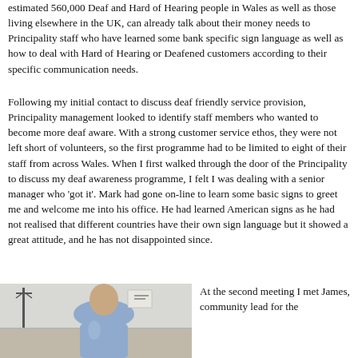estimated 560,000 Deaf and Hard of Hearing people in Wales as well as those living elsewhere in the UK, can already talk about their money needs to Principality staff who have learned some bank specific sign language as well as how to deal with Hard of Hearing or Deafened customers according to their specific communication needs.
Following my initial contact to discuss deaf friendly service provision, Principality management looked to identify staff members who wanted to become more deaf aware. With a strong customer service ethos, they were not left short of volunteers, so the first programme had to be limited to eight of their staff from across Wales. When I first walked through the door of the Principality to discuss my deaf awareness programme, I felt I was dealing with a senior manager who 'got it'. Mark had gone on-line to learn some basic signs to greet me and welcome me into his office. He had learned American signs as he had not realised that different countries have their own sign language but it showed a great attitude, and he has not disappointed since.
[Figure (photo): Photo of a man in a light blue polo shirt standing in an office setting, with a coat rack and papers visible in the background.]
At the second meeting I met James, community lead for the